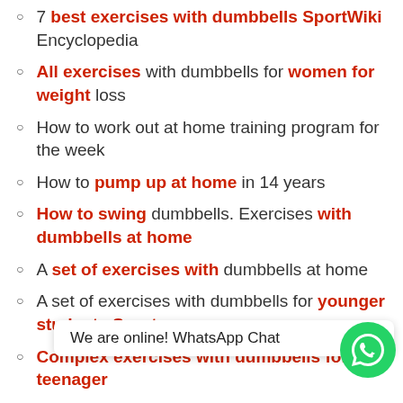7 best exercises with dumbbells SportWiki Encyclopedia
All exercises with dumbbells for women for weight loss
How to work out at home training program for the week
How to pump up at home in 14 years
How to swing dumbbells. Exercises with dumbbells at home
A set of exercises with dumbbells at home
A set of exercises with dumbbells for younger students Sports
Complex exercises with dumbbells for a teenager
A set of exercises with dumbbells and a ball for independent performance. – physical education p...
A set of exercises with dumbbells for all muscle groups for girls at home